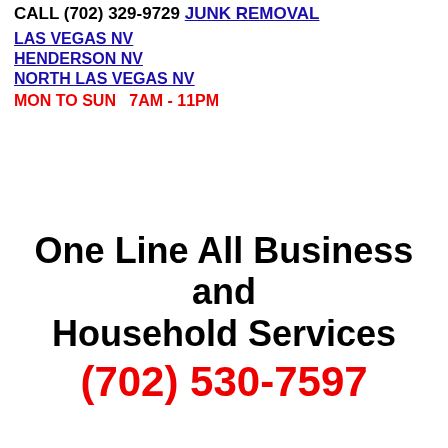CALL (702) 329-9729 JUNK REMOVAL
LAS VEGAS NV
HENDERSON NV
NORTH LAS VEGAS NV
MON TO SUN   7AM - 11PM
One Line All Business and Household Services
(702) 530-7597